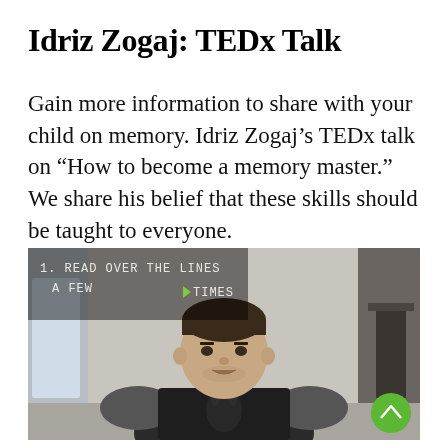Idriz Zogaj: TEDx Talk
Gain more information to share with your child on memory. Idriz Zogaj’s TEDx talk on “How to become a memory master.”  We share his belief that these skills should be taught to everyone.
[Figure (screenshot): A video screenshot showing a man in a dark raglan t-shirt speaking, with subtitle text overlaid reading '1. READ OVER THE LINES A FEW TIMES' and a green scroll-up button in the bottom right corner.]